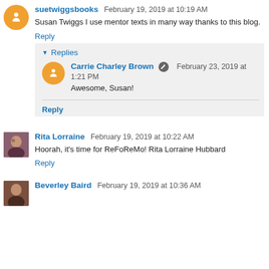suetwiggsbooks February 19, 2019 at 10:19 AM
Susan Twiggs I use mentor texts in many way thanks to this blog.
Reply
Replies
Carrie Charley Brown February 23, 2019 at 1:21 PM
Awesome, Susan!
Reply
Rita Lorraine February 19, 2019 at 10:22 AM
Hoorah, it's time for ReFoReMo! Rita Lorraine Hubbard
Reply
Beverley Baird February 19, 2019 at 10:36 AM